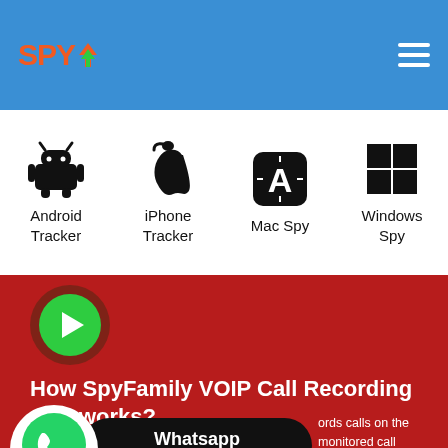SPY
Android Tracker
iPhone Tracker
Mac Spy
Windows Spy
[Figure (illustration): Play button circle on red background section]
How SpyFamily VOIP Call Recording App works?
[Figure (illustration): WhatsApp chat button banner with green WhatsApp logo and black pill button saying Whatsapp click to chat]
ords calls on the monitored call recording features are available.